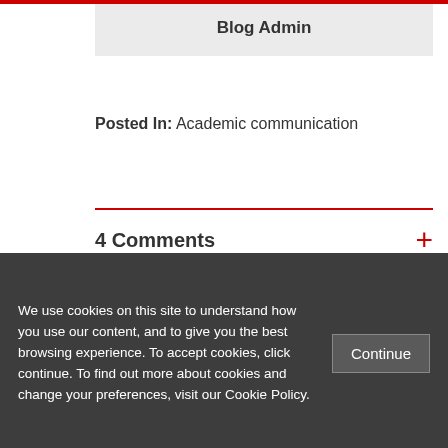Blog Admin
Posted In: Academic communication
4 Comments
Related Posts
We use cookies on this site to understand how you use our content, and to give you the best browsing experience. To accept cookies, click continue. To find out more about cookies and change your preferences, visit our Cookie Policy.